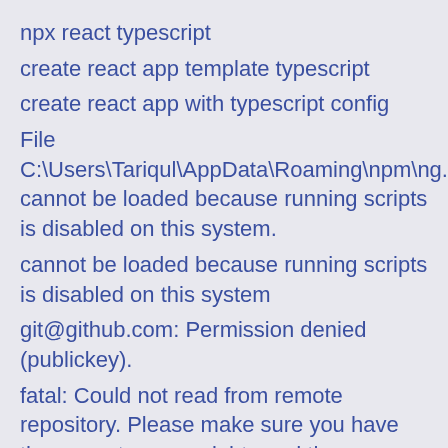npx react typescript
create react app template typescript
create react app with typescript config
File C:\Users\Tariqul\AppData\Roaming\npm\ng.ps1 cannot be loaded because running scripts is disabled on this system.
cannot be loaded because running scripts is disabled on this system
git@github.com: Permission denied (publickey).
fatal: Could not read from remote repository. Please make sure you have the correct access rights and the repository exists.
Can't bind to 'formGroup' since it isn't a known property of 'form.